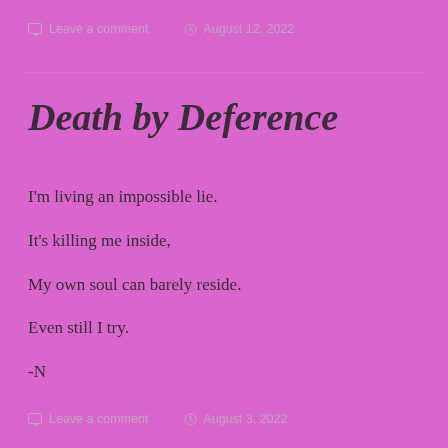Leave a comment   August 12, 2022
Death by Deference
I'm living an impossible lie.
It's killing me inside,
My own soul can barely reside.
Even still I try.
-N
Leave a comment   August 3, 2022